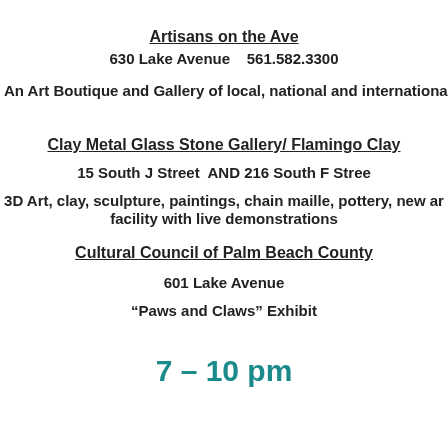Artisans on the Ave
630 Lake Avenue   561.582.3300
An Art Boutique and Gallery of local, national and international
Clay Metal Glass Stone Gallery/ Flamingo Clay
15 South J Street  AND 216 South F Street
3D Art, clay, sculpture, paintings, chain maille, pottery, new art facility with live demonstrations
Cultural Council of Palm Beach County
601 Lake Avenue
“Paws and Claws” Exhibit
7 – 10 pm